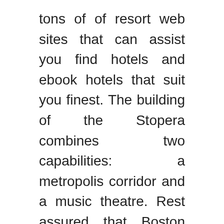tons of of resort web sites that can assist you find hotels and ebook hotels that suit you finest. The building of the Stopera combines two capabilities: a metropolis corridor and a music theatre. Rest assured that Boston hotels will always be ready with a tender pillow the place you possibly can lay your head and dream of tomorrow's plans.
Steeped in history and culture, Europe is a perfect journey destination for anyone with wanderlust. Luxury hotels are normally classified with at the least a 4 Diamond or 5 Diamond rating by American Car Association or a 4 or 5 Star hotel score relying on the country and native classification standards. Philly often is the site of politics previous, however Washington, D.C. hotels are the place right this moment's matters are at and